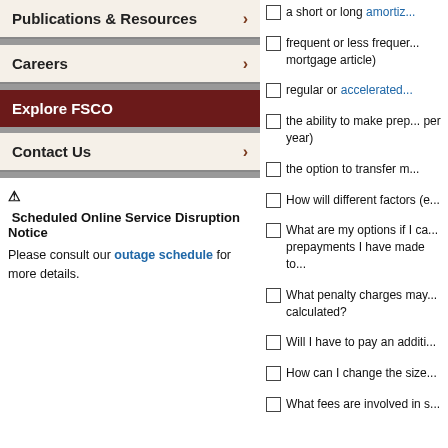Publications & Resources
Careers
Explore FSCO
Contact Us
⚠ Scheduled Online Service Disruption Notice
Please consult our outage schedule for more details.
a short or long amortiz...
frequent or less frequent... mortgage article)
regular or accelerated...
the ability to make prep... per year)
the option to transfer m...
How will different factors (e...
What are my options if I ca... prepayments I have made to...
What penalty charges may... calculated?
Will I have to pay an additi...
How can I change the size...
What fees are involved in s...